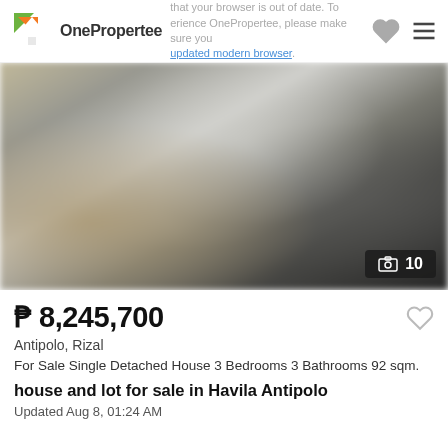OnePropertee — your browser is out of date. To experience OnePropertee, please make sure you have an updated modern browser.
[Figure (photo): Blurred interior photo of a property room, showing furniture and walls in muted earth tones. Photo count badge showing 10 images.]
₱ 8,245,700
Antipolo, Rizal
For Sale Single Detached House 3 Bedrooms 3 Bathrooms 92 sqm.
house and lot for sale in Havila Antipolo
Updated Aug 8, 01:24 AM